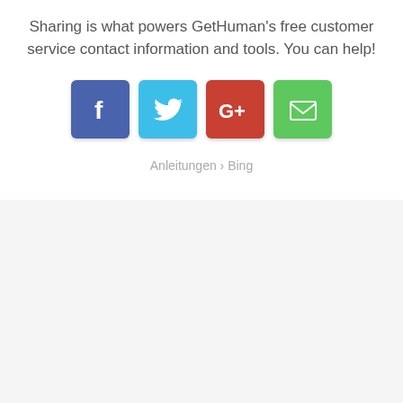Sharing is what powers GetHuman's free customer service contact information and tools. You can help!
[Figure (infographic): Four social sharing buttons: Facebook (blue), Twitter (cyan), Google+ (red), Email (green)]
Anleitungen › Bing